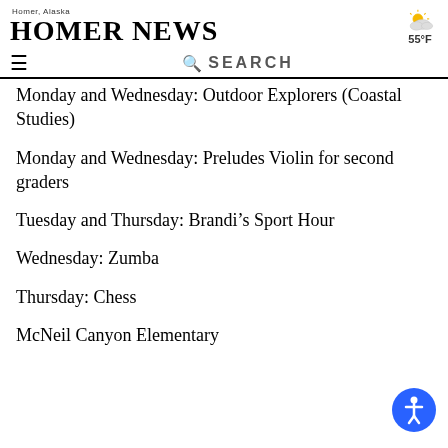Homer, Alaska — HOMER NEWS — 55°F
Monday and Wednesday: Outdoor Explorers (Coastal Studies)
Monday and Wednesday: Preludes Violin for second graders
Tuesday and Thursday: Brandi's Sport Hour
Wednesday: Zumba
Thursday: Chess
McNeil Canyon Elementary